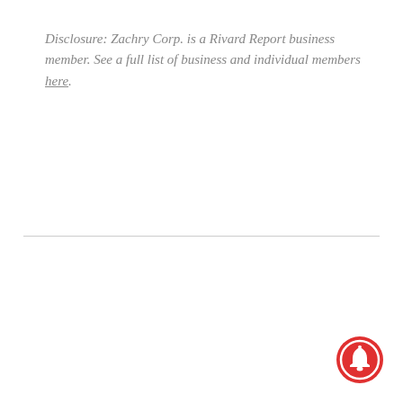Disclosure: Zachry Corp. is a Rivard Report business member. See a full list of business and individual members here.
[Figure (other): Red circular notification bell button in the bottom-right corner]